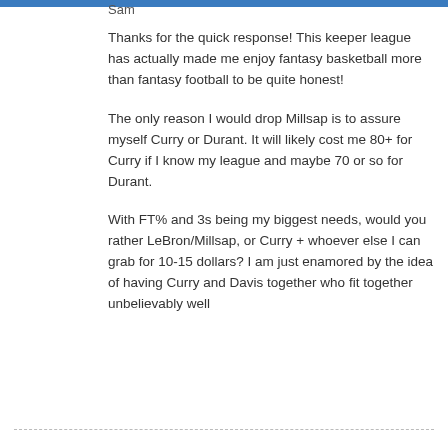Sam
Thanks for the quick response! This keeper league has actually made me enjoy fantasy basketball more than fantasy football to be quite honest!
The only reason I would drop Millsap is to assure myself Curry or Durant. It will likely cost me 80+ for Curry if I know my league and maybe 70 or so for Durant.
With FT% and 3s being my biggest needs, would you rather LeBron/Millsap, or Curry + whoever else I can grab for 10-15 dollars? I am just enamored by the idea of having Curry and Davis together who fit together unbelievably well